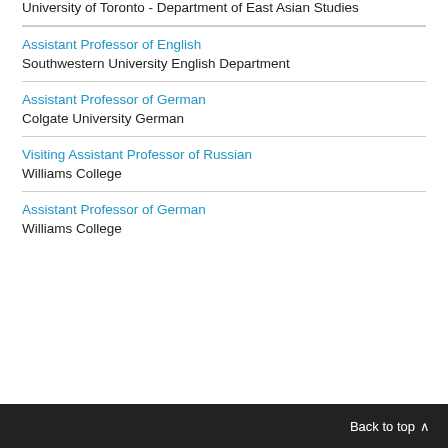University of Toronto - Department of East Asian Studies
Assistant Professor of English
Southwestern University English Department
Assistant Professor of German
Colgate University German
Visiting Assistant Professor of Russian
Williams College
Assistant Professor of German
Williams College
Back to top ∧